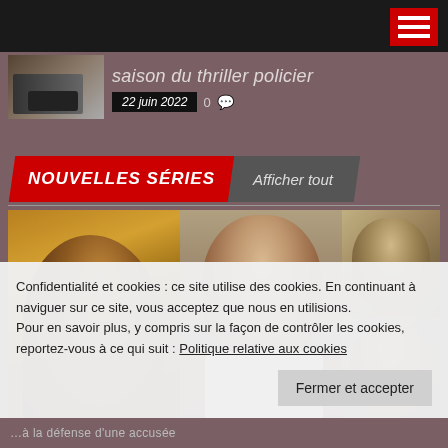[Figure (photo): Small thumbnail of a vintage car scene]
saison du thriller policier
22 juin 2022  0
NOUVELLES SÉRIES  Afficher tout
[Figure (photo): Composite photo of actors from a TV legal drama series: a man in shadow on left, a woman in lawyer robes center, an older man top right, a young woman bottom right]
Confidentialité et cookies : ce site utilise des cookies. En continuant à naviguer sur ce site, vous acceptez que nous en utilisions. Pour en savoir plus, y compris sur la façon de contrôler les cookies, reportez-vous à ce qui suit : Politique relative aux cookies
Fermer et accepter